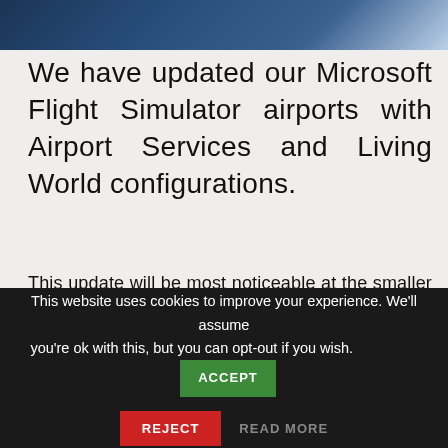[Figure (photo): Dark blue banner image at top of page, appears to show a person in a professional setting with a digital/technology background overlay]
We have updated our Microsoft Flight Simulator airports with Airport Services and Living World configurations.
This update will be most noticeable at the smaller airfields where your aircraft will no longer be swamped by service personnel looking for work to do! In fact, we have limited the service at parking areas to Medium General Aviation Parking bays and higher. Small General Aviation Parking Bays will no longer be services at all. This is in line
This website uses cookies to improve your experience. We'll assume you're ok with this, but you can opt-out if you wish.
ACCEPT
REJECT
READ MORE